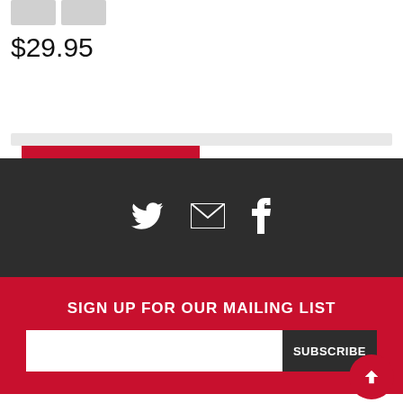$29.95
ADD TO CART
[Figure (other): Social media icons: Twitter bird, email envelope, Facebook 'f' on dark background]
SIGN UP FOR OUR MAILING LIST
SUBSCRIBE